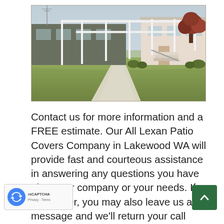[Figure (photo): Photograph of a building with white patio cover/carport structure extending along the front, green lawn in the foreground, and a reddish-leafed tree on the right side. A concrete pathway is visible leading to the building entrance.]
Contact us for more information and a FREE estimate. Our All Lexan Patio Covers Company in Lakewood WA will provide fast and courteous assistance in answering any questions you have about our company or your needs. If you prefer, you may also leave us a message and we'll return your call within a 24-hour period.